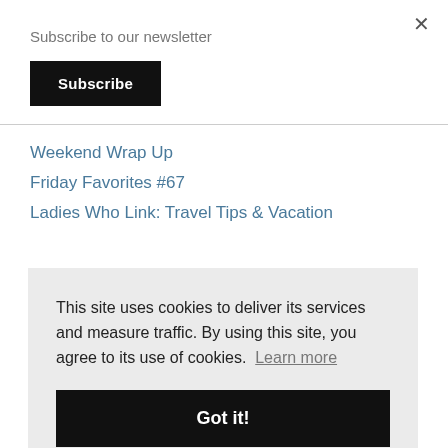×
Subscribe to our newsletter
Subscribe
Weekend Wrap Up
Friday Favorites #67
Ladies Who Link: Travel Tips & Vacation
This site uses cookies to deliver its services and measure traffic. By using this site, you agree to its use of cookies. Learn more
Got it!
Nordstrom Sale Picks - Round 1